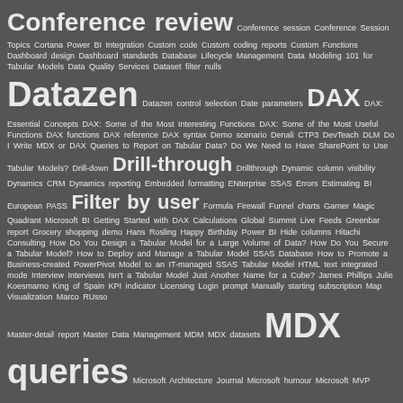Conference review Conference session Conference Session Topics Cortana Power BI Integration Custom code Custom coding reports Custom Functions Dashboard design Dashboard standards Database Lifecycle Management Data Modeling 101 for Tabular Models Data Quality Services Dataset filter nulls Datazen Datazen control selection Date parameters DAX DAX: Essential Concepts DAX: Some of the Most Interesting Functions DAX: Some of the Most Useful Functions DAX functions DAX reference DAX syntax Demo scenario Denali CTP3 DevTeach DLM Do I Write MDX or DAX Queries to Report on Tabular Data? Do We Need to Have SharePoint to Use Tabular Models? Drill-down Drill-through Drillthrough Dynamic column visibility Dynamics CRM Dynamics reporting Embedded formatting ENterprise SSAS Errors Estimating BI European PASS Filter by user Formula Firewall Funnel charts Garner Magic Quadrant Microsoft BI Getting Started with DAX Calculations Global Summit Live Feeds Greenbar report Grocery shopping demo Hans Rosling Happy Birthday Power BI Hide columns Hitachi Consulting How Do You Design a Tabular Model for a Large Volume of Data? How Do You Secure a Tabular Model? How to Deploy and Manage a Tabular Model SSAS Database How to Promote a Business-created PowerPivot Model to an IT-managed SSAS Tabular Model HTML text integrated mode Interview Interviews Isn't a Tabular Model Just Another Name for a Cube? James Phillips Julie Koesmarno King of Spain KPI indicator Licensing Login prompt Manually starting subscription Map Visualization Marco RUsso Master-detail report Master Data Management MDM MDX datasets MDX queries Microsoft Architecture Journal Microsoft humour Microsoft MVP